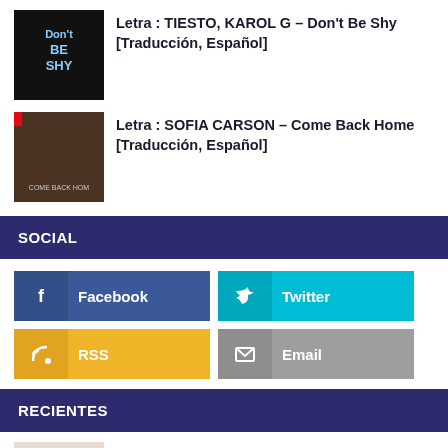[Figure (photo): Thumbnail for Don't Be Shy song by TIESTO and KAROL G]
Letra : TIESTO, KAROL G - Don't Be Shy [Traducción, Español]
[Figure (photo): Thumbnail for Sofia Carson - Come Back Home]
Letra : SOFIA CARSON - Come Back Home [Traducción, Español]
SOCIAL
Facebook
Twitter
RSS
Email
RECIENTES
[Figure (photo): Thumbnail for Tiffany Young - Born Again]
Letra : TIFFANY YOUNG - Born Again [Traducción, Español]